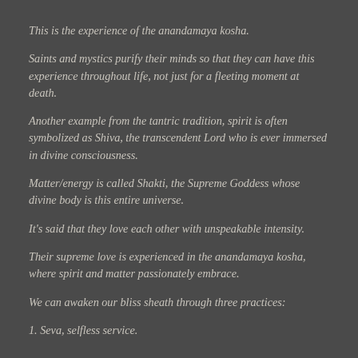This is the experience of the anandamaya kosha.
Saints and mystics purify their minds so that they can have this experience throughout life, not just for a fleeting moment at death.
Another example from the tantric tradition, spirit is often symbolized as Shiva, the transcendent Lord who is ever immersed in divine consciousness.
Matter/energy is called Shakti, the Supreme Goddess whose divine body is this entire universe.
It's said that they love each other with unspeakable intensity.
Their supreme love is experienced in the anandamaya kosha, where spirit and matter passionately embrace.
We can awaken our bliss sheath through three practices:
1. Seva, selfless service.